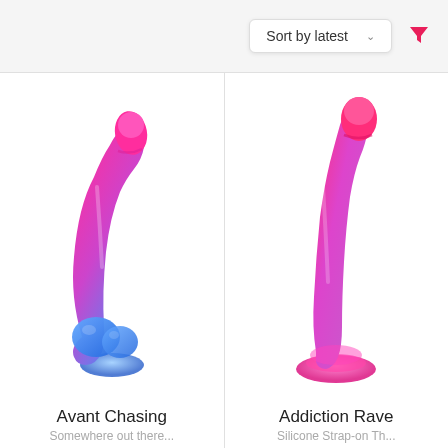Sort by latest
[Figure (photo): Pink to blue gradient silicone dildo with suction cup base]
Avant Chasing
[Figure (photo): Pink to purple gradient silicone dildo with suction cup base]
Addiction Rave